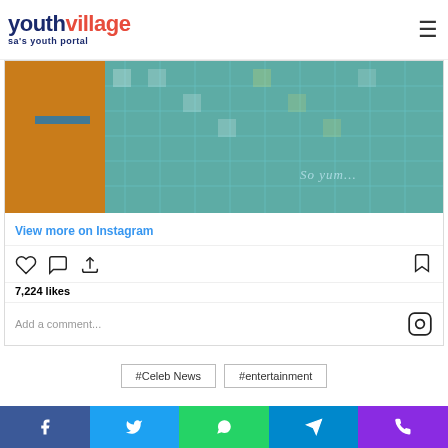youthvillage sa's youth portal
[Figure (photo): Instagram embedded photo showing tiled surface with orange and teal/blue colors and text 'So yum...' overlaid]
View more on Instagram
[Figure (infographic): Instagram action icons row: heart (like), comment bubble, share arrow, and bookmark icon]
7,224 likes
Add a comment...
#Celeb News
#entertainment
Facebook, Twitter, WhatsApp, Telegram, Phone share buttons